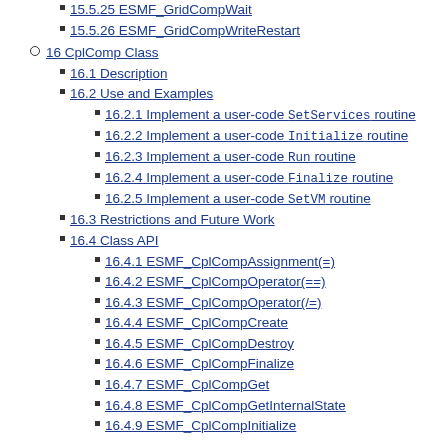15.5.25 ESMF_GridCompWait
15.5.26 ESMF_GridCompWriteRestart
16 CplComp Class
16.1 Description
16.2 Use and Examples
16.2.1 Implement a user-code SetServices routine
16.2.2 Implement a user-code Initialize routine
16.2.3 Implement a user-code Run routine
16.2.4 Implement a user-code Finalize routine
16.2.5 Implement a user-code SetVM routine
16.3 Restrictions and Future Work
16.4 Class API
16.4.1 ESMF_CplCompAssignment(=)
16.4.2 ESMF_CplCompOperator(==)
16.4.3 ESMF_CplCompOperator(/=)
16.4.4 ESMF_CplCompCreate
16.4.5 ESMF_CplCompDestroy
16.4.6 ESMF_CplCompFinalize
16.4.7 ESMF_CplCompGet
16.4.8 ESMF_CplCompGetInternalState
16.4.9 ESMF_CplCompInitialize